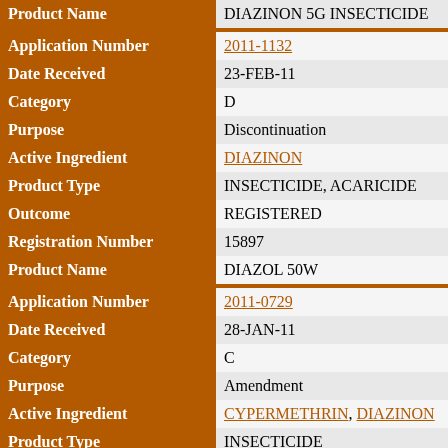| Field | Value |
| --- | --- |
| Product Name | DIAZINON 5G INSECTICIDE |
| Application Number | 2011-1132 |
| Date Received | 23-FEB-11 |
| Category | D |
| Purpose | Discontinuation |
| Active Ingredient | DIAZINON |
| Product Type | INSECTICIDE, ACARICIDE |
| Outcome | REGISTERED |
| Registration Number | 15897 |
| Product Name | DIAZOL 50W |
| Application Number | 2011-0729 |
| Date Received | 28-JAN-11 |
| Category | C |
| Purpose | Amendment |
| Active Ingredient | CYPERMETHRIN, DIAZINON |
| Product Type | INSECTICIDE |
| Outcome | REGISTERED |
| Registration Number | 24438 |
| Product Name | ELIMINATOR EAR TAGS |
| Application Number | 2010-5517 |
| Date Received | 09-NOV-10 |
| Category | C |